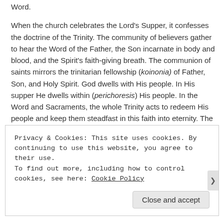Word.
When the church celebrates the Lord's Supper, it confesses the doctrine of the Trinity. The community of believers gather to hear the Word of the Father, the Son incarnate in body and blood, and the Spirit's faith-giving breath. The communion of saints mirrors the trinitarian fellowship (koinonia) of Father, Son, and Holy Spirit. God dwells with His people. In His supper He dwells within (perichoresis) His people. In the Word and Sacraments, the whole Trinity acts to redeem His people and keep them steadfast in this faith into eternity. The Lord's Supper is not merely the presence of the Son but demonstrates the unity of the Trinity, acting for the salvation of man.
Previous post: How Lutherans Worship – 8: Kyrie & Hymn of Praise
Privacy & Cookies: This site uses cookies. By continuing to use this website, you agree to their use.
To find out more, including how to control cookies, see here: Cookie Policy
Close and accept